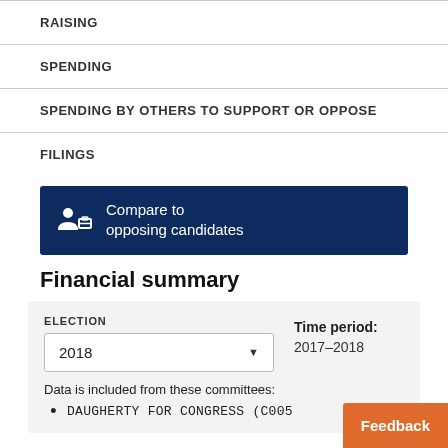RAISING
SPENDING
SPENDING BY OTHERS TO SUPPORT OR OPPOSE
FILINGS
Compare to opposing candidates
Financial summary
ELECTION
2018
Time period:
2017–2018
Data is included from these committees:
DAUGHERTY FOR CONGRESS (C005
Feedback